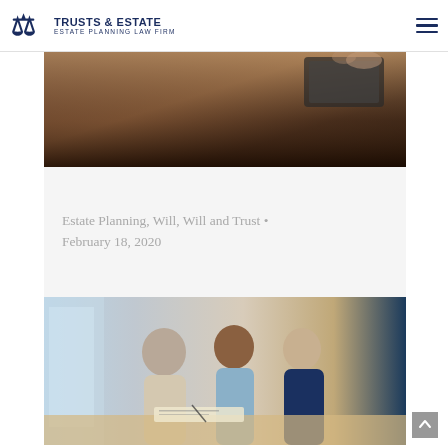TRUSTS & ESTATE — ESTATE PLANNING LAW FIRM
[Figure (photo): Close-up photo of person using a tablet device, leather couch visible, dark tones]
Estate Planning, Will, Will and Trust • February 18, 2020
[Figure (photo): Three people sitting at a table in consultation: an older man signing documents, a woman in light blue, and a professional woman in navy blue jacket]